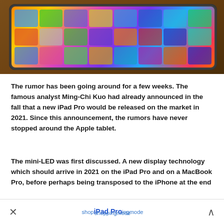[Figure (photo): Photo of an iPad lying on a wooden table, showing the home screen with colorful app icons and wallpaper. The tablet is viewed from a slight angle.]
The rumor has been going around for a few weeks. The famous analyst Ming-Chi Kuo had already announced in the fall that a new iPad Pro would be released on the market in 2021. Since this announcement, the rumors have never stopped around the Apple tablet.
The mini-LED was first discussed. A new display technology which should arrive in 2021 on the iPad Pro and on a MacBook Pro, before perhaps being transposed to the iPhone at the end
× shoppingmode Shop iPad Pro ∧